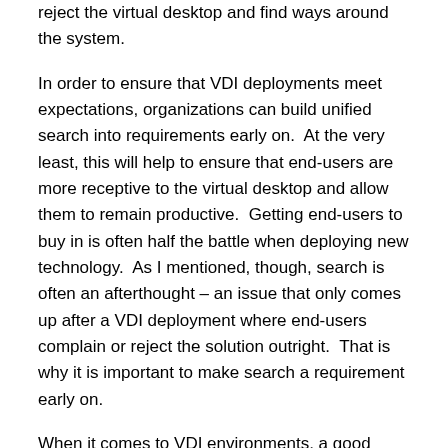reject the virtual desktop and find ways around the system.
In order to ensure that VDI deployments meet expectations, organizations can build unified search into requirements early on.  At the very least, this will help to ensure that end-users are more receptive to the virtual desktop and allow them to remain productive.  Getting end-users to buy in is often half the battle when deploying new technology.  As I mentioned, though, search is often an afterthought – an issue that only comes up after a VDI deployment where end-users complain or reject the solution outright.  That is why it is important to make search a requirement early on.
When it comes to VDI environments, a good search solution must decouple the search UI from the indexing